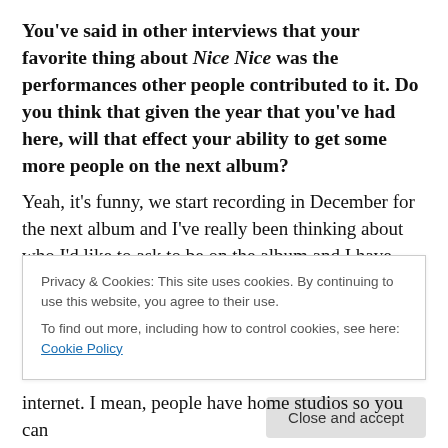You've said in other interviews that your favorite thing about Nice Nice was the performances other people contributed to it. Do you think that given the year that you've had here, will that effect your ability to get some more people on the next album?
Yeah, it's funny, we start recording in December for the next album and I've really been thinking about who I'd like to ask to be on the album and I have some pretty wild names floating in my brain right now, and it's fairly ambitious people to be seeking out, but we'll see what happens. And I love the idea of collaborating on albums
Privacy & Cookies: This site uses cookies. By continuing to use this website, you agree to their use.
To find out more, including how to control cookies, see here: Cookie Policy
Close and accept
internet. I mean, people have home studios so you can